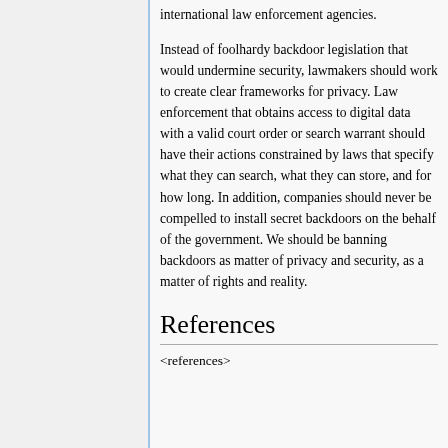international law enforcement agencies.
Instead of foolhardy backdoor legislation that would undermine security, lawmakers should work to create clear frameworks for privacy. Law enforcement that obtains access to digital data with a valid court order or search warrant should have their actions constrained by laws that specify what they can search, what they can store, and for how long. In addition, companies should never be compelled to install secret backdoors on the behalf of the government. We should be banning backdoors as matter of privacy and security, as a matter of rights and reality.
References
<references>